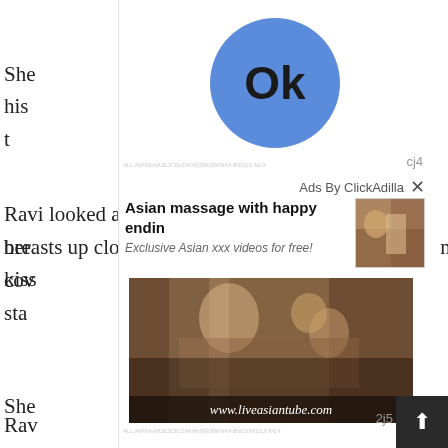She ... ht his t
Ravi looked at his moms breasts up close. He kissed her ... nd cov... sta...
[Figure (screenshot): Ad overlay popup with blue Ok button circle, ClickAdilla ad for 'Asian massage with happy endin', thumbnail image, and main ad photo with watermark www.liveasiantube.com]
She ... ns.
Rav... om...